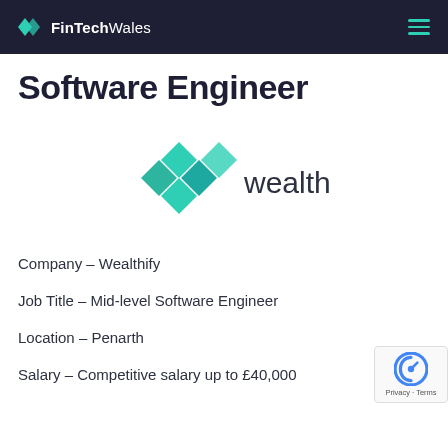FinTechWales
Software Engineer
[Figure (logo): Wealthify company logo with teal diamond pattern and text 'wealthify']
Company – Wealthify
Job Title – Mid-level Software Engineer
Location – Penarth
Salary – Competitive salary up to £40,000